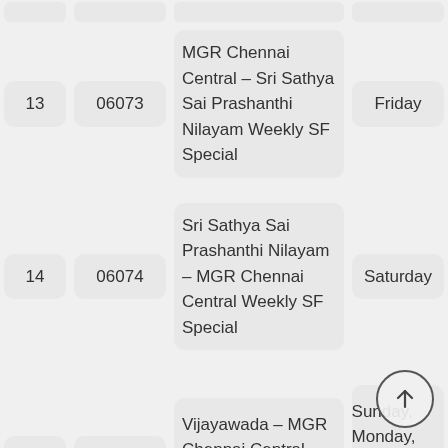| # | Code | Train Name | Day |
| --- | --- | --- | --- |
| 13 | 06073 | MGR Chennai Central – Sri Sathya Sai Prashanthi Nilayam Weekly SF Special | Friday |
| 14 | 06074 | Sri Sathya Sai Prashanthi Nilayam – MGR Chennai Central Weekly SF Special | Saturday |
| 15 | 02078 | Vijayawada – MGR Chennai Central Jan Shatabdi Festival Special | Sunday, Monday, Wednesday, Thursday, Friday |